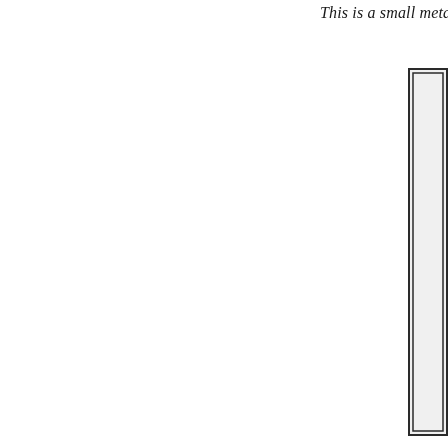This is a small metal ruler ½" X 6" fo
[Figure (illustration): A rectangular double-bordered box, partially visible on the right edge of the page, running vertically from near the top to near the bottom of the page.]